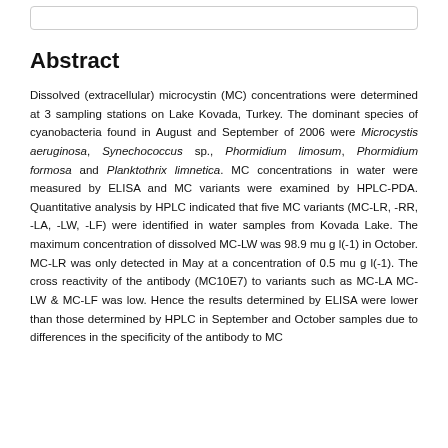Abstract
Dissolved (extracellular) microcystin (MC) concentrations were determined at 3 sampling stations on Lake Kovada, Turkey. The dominant species of cyanobacteria found in August and September of 2006 were Microcystis aeruginosa, Synechococcus sp., Phormidium limosum, Phormidium formosa and Planktothrix limnetica. MC concentrations in water were measured by ELISA and MC variants were examined by HPLC-PDA. Quantitative analysis by HPLC indicated that five MC variants (MC-LR, -RR, -LA, -LW, -LF) were identified in water samples from Kovada Lake. The maximum concentration of dissolved MC-LW was 98.9 mu g l(-1) in October. MC-LR was only detected in May at a concentration of 0.5 mu g l(-1). The cross reactivity of the antibody (MC10E7) to variants such as MC-LA MC-LW & MC-LF was low. Hence the results determined by ELISA were lower than those determined by HPLC in September and October samples due to differences in the specificity of the antibody to MC